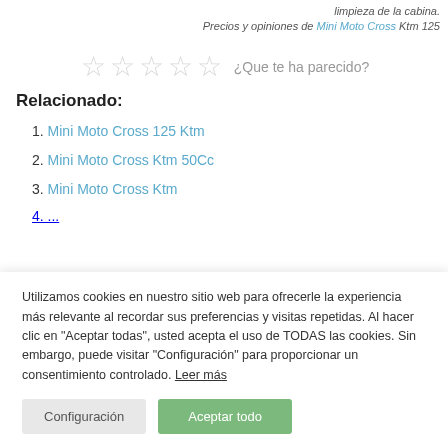limpieza de la cabina.
Precios y opiniones de Mini Moto Cross Ktm 125
[Figure (other): Five empty star rating icons with label '¿Que te ha parecido?']
Relacionado:
1. Mini Moto Cross 125 Ktm
2. Mini Moto Cross Ktm 50Cc
3. Mini Moto Cross Ktm
Utilizamos cookies en nuestro sitio web para ofrecerle la experiencia más relevante al recordar sus preferencias y visitas repetidas. Al hacer clic en "Aceptar todas", usted acepta el uso de TODAS las cookies. Sin embargo, puede visitar "Configuración" para proporcionar un consentimiento controlado. Leer más